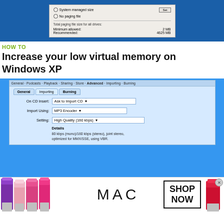[Figure (screenshot): Windows XP virtual memory / paging file dialog screenshot showing radio buttons for System managed size and No paging file, a Set button, and Total paging file size section with Minimum allowed: 2 MB and Recommended: 4625 MB]
HOW TO
Increase your low virtual memory on Windows XP
[Figure (screenshot): iTunes preferences screenshot showing Importing tab with On CD Insert dropdown set to 'Ask to Import CD', Import Using set to 'MP3 Encoder', Setting set to 'High Quality (160 kbps)', and Details section showing bit rate information]
[Figure (advertisement): MAC cosmetics advertisement showing lipstick products in purple, pink and red colors with MAC logo and SHOP NOW button]